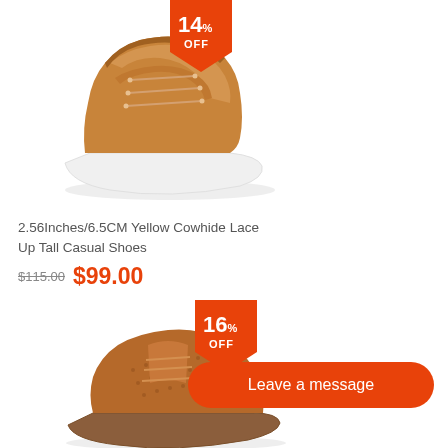[Figure (photo): Tan/camel colored suede lace-up casual sneaker boot with white sole, shown at angle. Orange badge at top right corner showing '14% OFF'.]
2.56Inches/6.5CM Yellow Cowhide Lace Up Tall Casual Shoes
$115.00  $99.00
[Figure (photo): Tan/cognac leather perforated oxford dress shoe, shown at angle. Orange badge at top showing '16% OFF'. Orange 'Leave a message' button overlaid at bottom right.]